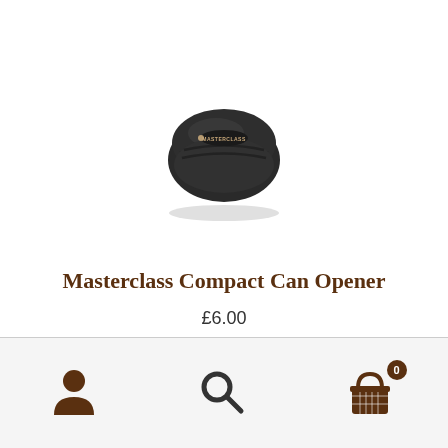[Figure (photo): Masterclass Compact Can Opener product photo — small round black can opener with ergonomic grip ridges and Masterclass branding on top, photographed on white background]
Masterclass Compact Can Opener
£6.00
Navigation footer with person/account icon, search icon, and shopping basket icon with badge showing 0